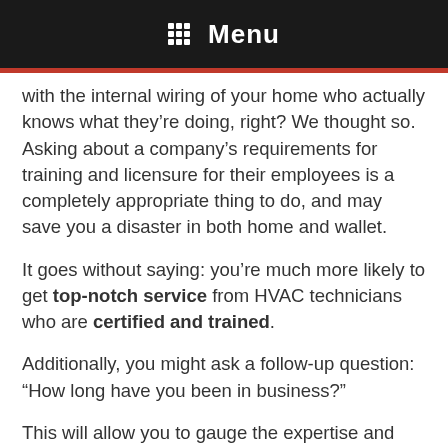Menu
with the internal wiring of your home who actually knows what they’re doing, right? We thought so. Asking about a company’s requirements for training and licensure for their employees is a completely appropriate thing to do, and may save you a disaster in both home and wallet.
It goes without saying: you’re much more likely to get top-notch service from HVAC technicians who are certified and trained.
Additionally, you might ask a follow-up question: “How long have you been in business?”
This will allow you to gauge the expertise and longevity of experience your contractor is bringing to the table.